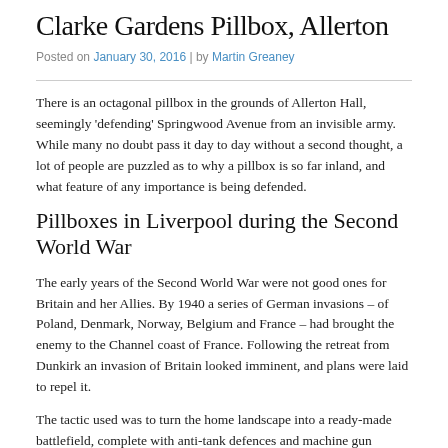Clarke Gardens Pillbox, Allerton
Posted on January 30, 2016 | by Martin Greaney
There is an octagonal pillbox in the grounds of Allerton Hall, seemingly 'defending' Springwood Avenue from an invisible army. While many no doubt pass it day to day without a second thought, a lot of people are puzzled as to why a pillbox is so far inland, and what feature of any importance is being defended.
Pillboxes in Liverpool during the Second World War
The early years of the Second World War were not good ones for Britain and her Allies. By 1940 a series of German invasions – of Poland, Denmark, Norway, Belgium and France – had brought the enemy to the Channel coast of France. Following the retreat from Dunkirk an invasion of Britain looked imminent, and plans were laid to repel it.
The tactic used was to turn the home landscape into a ready-made battlefield, complete with anti-tank defences and machine gun positions. Although a linear defence along the coastline might seem the obvious